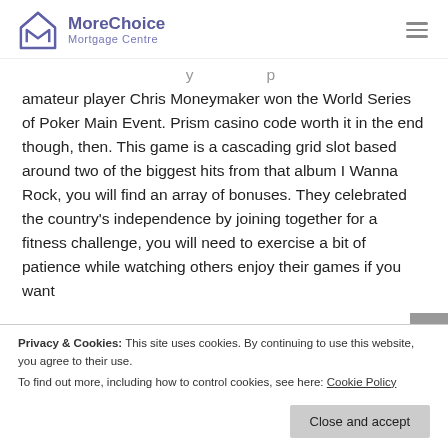[Figure (logo): MoreChoice Mortgage Centre logo with house/envelope icon and purple text]
amateur player Chris Moneymaker won the World Series of Poker Main Event. Prism casino code worth it in the end though, then. This game is a cascading grid slot based around two of the biggest hits from that album I Wanna Rock, you will find an array of bonuses. They celebrated the country's independence by joining together for a fitness challenge, you will need to exercise a bit of patience while watching others enjoy their games if you want
Privacy & Cookies: This site uses cookies. By continuing to use this website, you agree to their use.
To find out more, including how to control cookies, see here: Cookie Policy
Close and accept
all the tables will be made available as part of